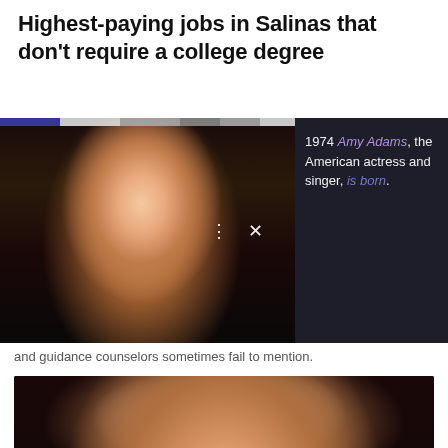Highest-paying jobs in Salinas that don't require a college degree
[Figure (photo): Pop-up overlay showing a woman (Amy Adams) smiling, in a black outfit, with dark background. A progress bar appears at top. Overlay panel on right shows text: '1974 Amy Adams, the American actress and singer, is born.']
and guidance counselors sometimes fail to mention.
[Figure (photo): Close-up photo of a woman with auburn hair and blue eyes smiling, against a dark blurred background.]